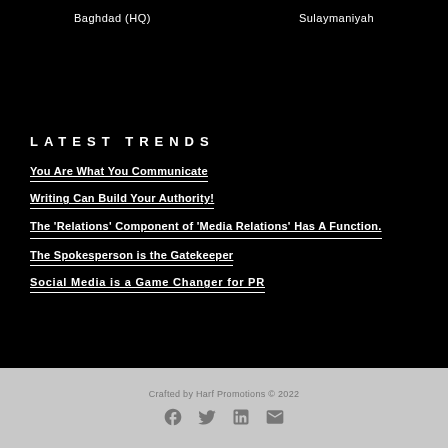Baghdad (HQ)    Sulaymaniyah
Latest Trends
You Are What You Communicate
Writing Can Build Your Authority!
The 'Relations' Component of 'Media Relations' Has A Function.
The Spokesperson is the Gatekeeper
Social Media is a Game Changer for PR
Crafted by Harf Promotions © 2022